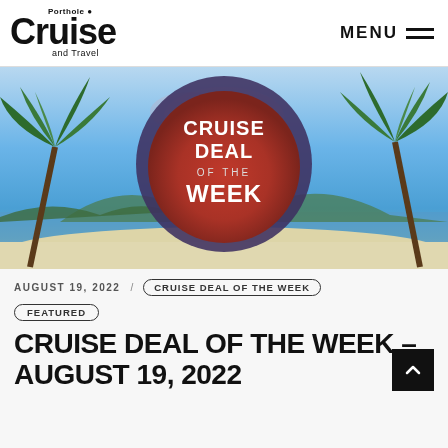Porthole Cruise and Travel — MENU
[Figure (illustration): Hero banner image of a tropical beach scene with palm trees, blue sky, and a dark purple/maroon circular badge in the center reading 'CRUISE DEAL OF THE WEEK']
AUGUST 19, 2022 / CRUISE DEAL OF THE WEEK
FEATURED
CRUISE DEAL OF THE WEEK – AUGUST 19, 2022